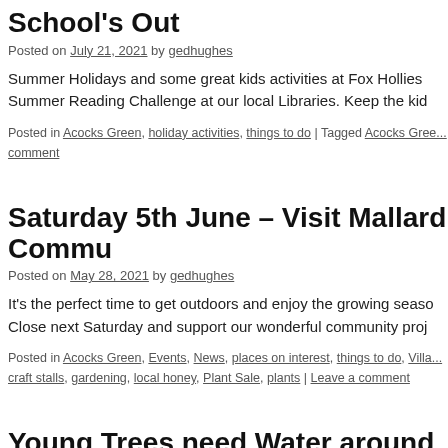School's Out
Posted on July 21, 2021 by gedhughes
Summer Holidays and some great kids activities at Fox Hollies Summer Reading Challenge at our local Libraries. Keep the kid
Posted in Acocks Green, holiday activities, things to do | Tagged Acocks Gree... comment
Saturday 5th June – Visit Mallard Commu
Posted on May 28, 2021 by gedhughes
It's the perfect time to get outdoors and enjoy the growing seaso... Close next Saturday and support our wonderful community proj
Posted in Acocks Green, Events, News, places on interest, things to do, Villa... craft stalls, gardening, local honey, Plant Sale, plants | Leave a comment
Young Trees need Water around AG
Posted on August 3, 2020 by gedhughes